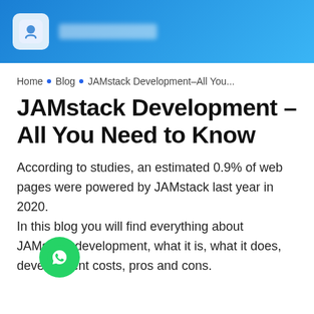[Figure (logo): Website header bar with blue gradient background, a white rounded square logo with a blue emblem, and blurred site name text]
Home • Blog • JAMstack Development–All You...
JAMstack Development – All You Need to Know
According to studies, an estimated 0.9% of web pages were powered by JAMstack last year in 2020.
In this blog you will find everything about JAMstack development, what it is, what it does, development costs, pros and cons.
[Figure (illustration): Green WhatsApp floating action button with phone/chat icon, positioned at bottom left]